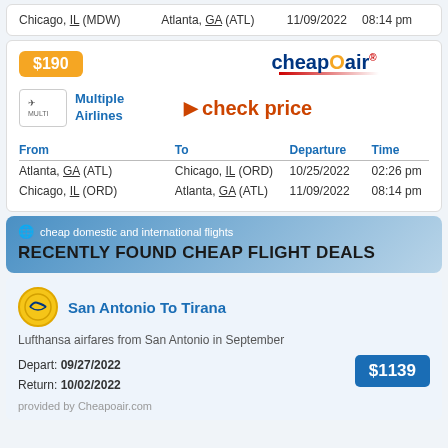| Chicago, IL (MDW) | Atlanta, GA (ATL) | 11/09/2022 | 08:14 pm |
[Figure (logo): CheapOair travel booking card with $190 price badge, Multiple Airlines, check price link, and flight table showing Atlanta GA (ATL) to Chicago IL (ORD) on 10/25/2022 at 02:26 pm, and Chicago IL (ORD) to Atlanta GA (ATL) on 11/09/2022 at 08:14 pm]
cheap domestic and international flights
RECENTLY FOUND CHEAP FLIGHT DEALS
San Antonio To Tirana
Lufthansa airfares from San Antonio in September
Depart: 09/27/2022
Return: 10/02/2022
$1139
provided by Cheapoair.com